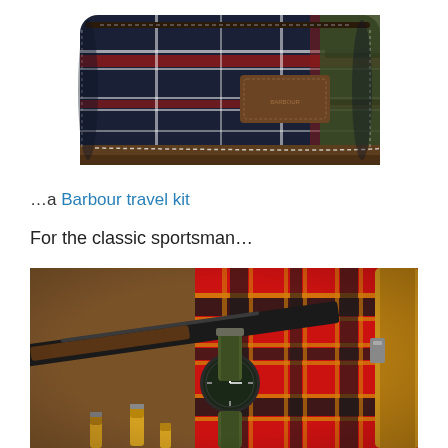[Figure (photo): A Barbour tartan travel/wash kit bag in navy and dark green plaid with red and white stripes, brown leather trim and label patch, photographed on white background.]
…a Barbour travel kit
For the classic sportsman…
[Figure (photo): Close-up photo of classic sportsman items: a wooden-stocked rifle, shotgun shells/cartridges, a military field watch with olive NATO strap, red tartan blanket/cloth, leather bag strap, and other hunting accessories.]